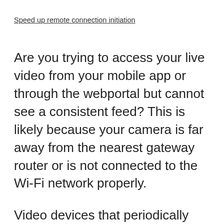Speed up remote connection initiation
Are you trying to access your live video from your mobile app or through the webportal but cannot see a consistent feed? This is likely because your camera is far away from the nearest gateway router or is not connected to the Wi-Fi network properly.
Video devices that periodically disconnect from your network may not have the required bandwidth or signal strength to